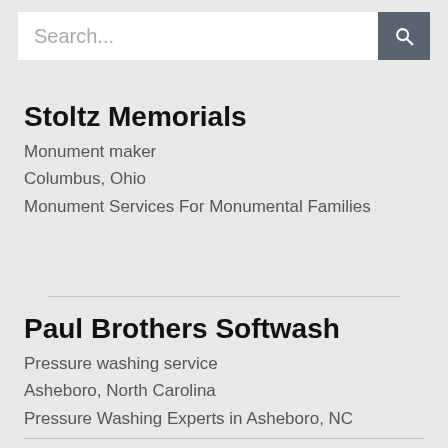[Figure (screenshot): Search bar with text placeholder 'Search...' and a dark grey search button with a magnifying glass icon]
Stoltz Memorials
Monument maker
Columbus, Ohio
Monument Services For Monumental Families
Paul Brothers Softwash
Pressure washing service
Asheboro, North Carolina
Pressure Washing Experts in Asheboro, NC